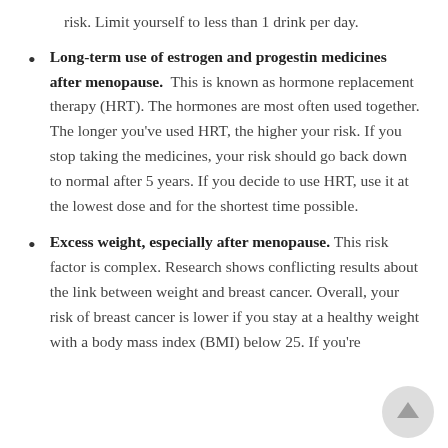risk. Limit yourself to less than 1 drink per day.
Long-term use of estrogen and progestin medicines after menopause. This is known as hormone replacement therapy (HRT). The hormones are most often used together. The longer you've used HRT, the higher your risk. If you stop taking the medicines, your risk should go back down to normal after 5 years. If you decide to use HRT, use it at the lowest dose and for the shortest time possible.
Excess weight, especially after menopause. This risk factor is complex. Research shows conflicting results about the link between weight and breast cancer. Overall, your risk of breast cancer is lower if you stay at a healthy weight with a body mass index (BMI) below 25. If you're